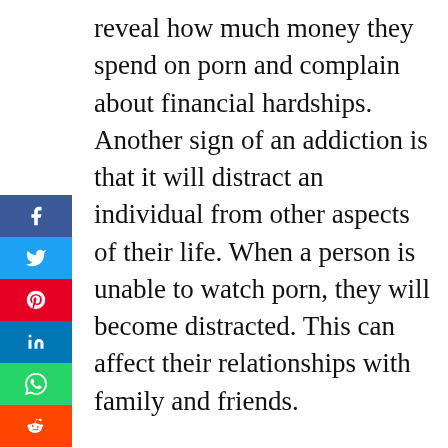reveal how much money they spend on porn and complain about financial hardships. Another sign of an addiction is that it will distract an individual from other aspects of their life. When a person is unable to watch porn, they will become distracted. This can affect their relationships with family and friends.

Are there signs of addiction or a shift to more extreme porn material? More than 60 studies have found evidence of increased pornographic usage (tolerance), habituation to porn, and even withdrawal symptoms (all